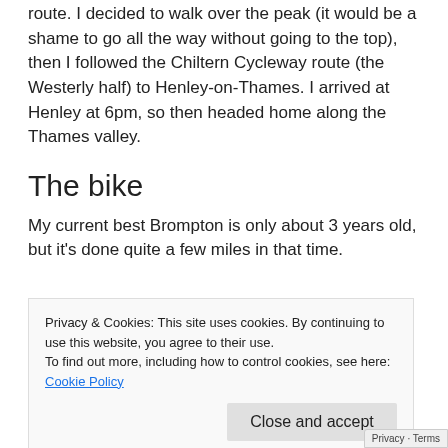route. I decided to walk over the peak (it would be a shame to go all the way without going to the top), then I followed the Chiltern Cycleway route (the Westerly half) to Henley-on-Thames. I arrived at Henley at 6pm, so then headed home along the Thames valley.
The bike
My current best Brompton is only about 3 years old, but it's done quite a few miles in that time.
Privacy & Cookies: This site uses cookies. By continuing to use this website, you agree to their use.
To find out more, including how to control cookies, see here: Cookie Policy
Close and accept
I'm not entirely comfortable with using it for
Privacy · Terms